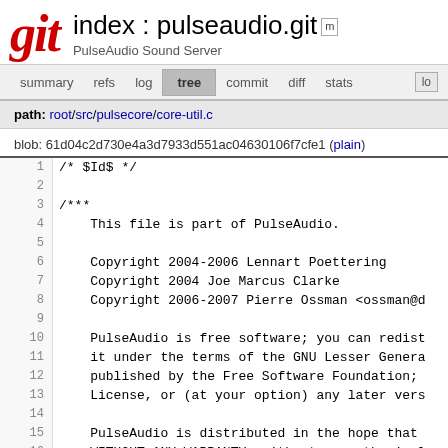git  index : pulseaudio.git  PulseAudio Sound Server
summary  refs  log  tree  commit  diff  stats  log
path: root/src/pulsecore/core-util.c
blob: 61d04c2d730e4a3d7933d551ac04630106f7cfe1 (plain)
/* $Id$ */

/***
    This file is part of PulseAudio.

    Copyright 2004-2006 Lennart Poettering
    Copyright 2004 Joe Marcus Clarke
    Copyright 2006-2007 Pierre Ossman <ossman@d

    PulseAudio is free software; you can redist
    it under the terms of the GNU Lesser Genera
    published by the Free Software Foundation;
    License, or (at your option) any later vers

    PulseAudio is distributed in the hope that
    WITHOUT ANY WARRANTY; without even the impl
    MERCHANTABILITY or FITNESS FOR A PARTICUL